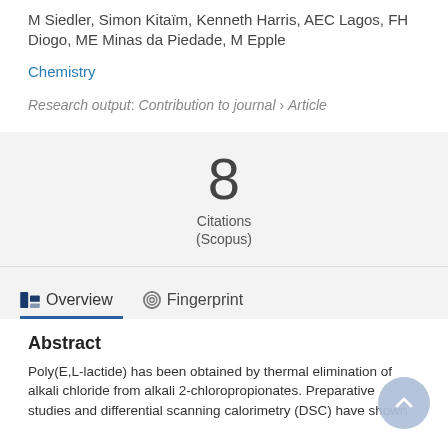M Siedler, Simon Kitaïm, Kenneth Harris, AEC Lagos, FH Diogo, ME Minas da Piedade, M Epple
Chemistry
Research output: Contribution to journal › Article
8 Citations (Scopus)
Overview   Fingerprint
Abstract
Poly(E,L-lactide) has been obtained by thermal elimination of alkali chloride from alkali 2-chloropropionates. Preparative studies and differential scanning calorimetry (DSC) have shown